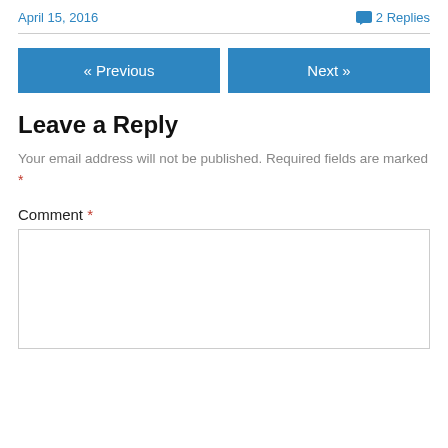April 15, 2016
2 Replies
« Previous
Next »
Leave a Reply
Your email address will not be published. Required fields are marked *
Comment *